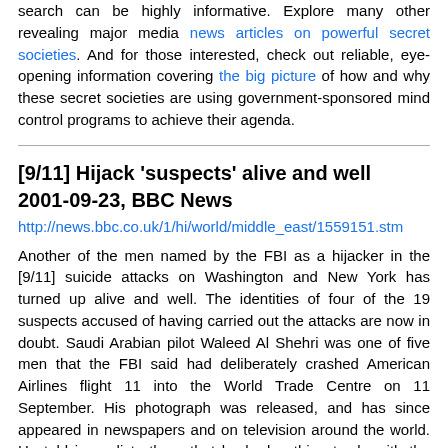search can be highly informative. Explore many other revealing major media news articles on powerful secret societies. And for those interested, check out reliable, eye-opening information covering the big picture of how and why these secret societies are using government-sponsored mind control programs to achieve their agenda.
[9/11] Hijack 'suspects' alive and well
2001-09-23, BBC News
http://news.bbc.co.uk/1/hi/world/middle_east/1559151.stm
Another of the men named by the FBI as a hijacker in the [9/11] suicide attacks on Washington and New York has turned up alive and well. The identities of four of the 19 suspects accused of having carried out the attacks are now in doubt. Saudi Arabian pilot Waleed Al Shehri was one of five men that the FBI said had deliberately crashed American Airlines flight 11 into the World Trade Centre on 11 September. His photograph was released, and has since appeared in newspapers and on television around the world. He told journalists there that he had nothing to do with the attacks. He has contacted both the Saudi